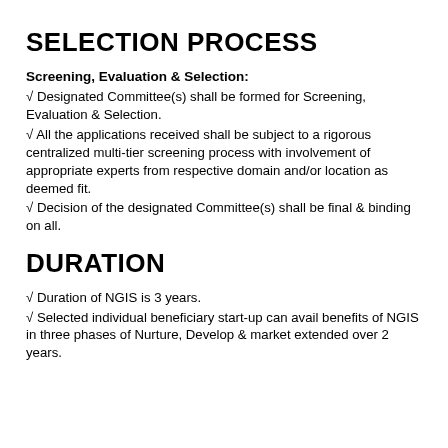SELECTION PROCESS
Screening, Evaluation & Selection:
√ Designated Committee(s) shall be formed for Screening, Evaluation & Selection.
√ All the applications received shall be subject to a rigorous centralized multi-tier screening process with involvement of appropriate experts from respective domain and/or location as deemed fit.
√ Decision of the designated Committee(s) shall be final & binding on all.
DURATION
√ Duration of NGIS is 3 years.
√ Selected individual beneficiary start-up can avail benefits of NGIS in three phases of Nurture, Develop & market extended over 2 years.